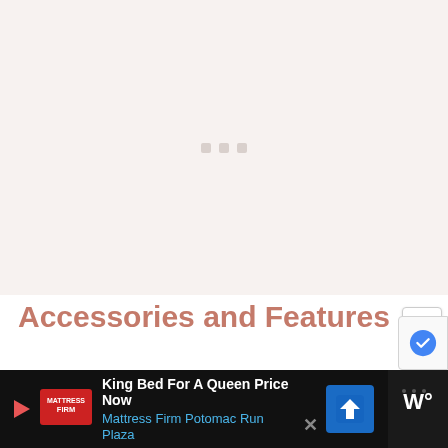[Figure (photo): Image loading placeholder area with light pinkish-beige background and three small square loading indicator dots in the center]
Accessories and Features
The following accessories and features aren't necessary to have on a hair dryer, but they can make your styling experience a lot more enjoya…
[Figure (infographic): Bottom advertisement bar for Mattress Firm Potomac Run Plaza: 'King Bed For A Queen Price Now' with blue directions icon and weather widget on right side]